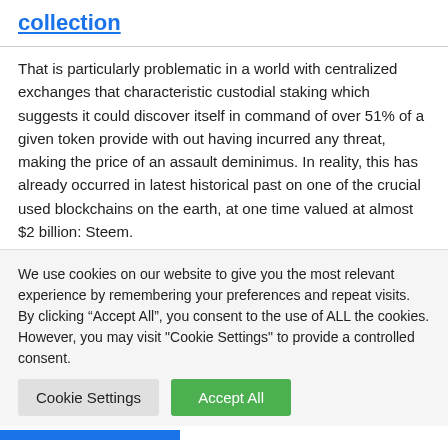collection
That is particularly problematic in a world with centralized exchanges that characteristic custodial staking which suggests it could discover itself in command of over 51% of a given token provide with out having incurred any threat, making the price of an assault deminimus. In reality, this has already occurred in latest historical past on one of the crucial used blockchains on the earth, at one time valued at almost $2 billion: Steem.
We use cookies on our website to give you the most relevant experience by remembering your preferences and repeat visits. By clicking “Accept All”, you consent to the use of ALL the cookies. However, you may visit "Cookie Settings" to provide a controlled consent.